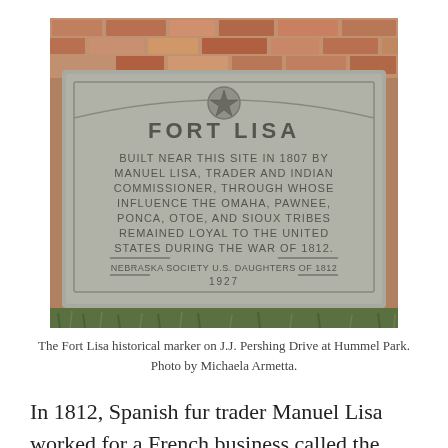[Figure (photo): Photograph of the Fort Lisa historical marker, a stone plaque mounted against a brick wall. The plaque reads: FORT LISA / BUILT NEAR THIS SITE IN 1807 BY / MANUEL LISA, TRADER AND INDIAN / COMMISSIONER, THROUGH WHOSE / INFLUENCE THE OMAHA, PAWNEE, / PONCA, OTOE, AND SIOUX TRIBES / REMAINED LOYAL TO THE UNITED / STATES DURING THE WAR OF 1812. / NEBRASKA SOCIETY U.S. DAUGHTERS OF 1812 / 1927. Located on J.J. Pershing Drive at Hummel Park.]
The Fort Lisa historical marker on J.J. Pershing Drive at Hummel Park. Photo by Michaela Armetta.
In 1812, Spanish fur trader Manuel Lisa worked for a French business called the Missouri Fur Company. Learn